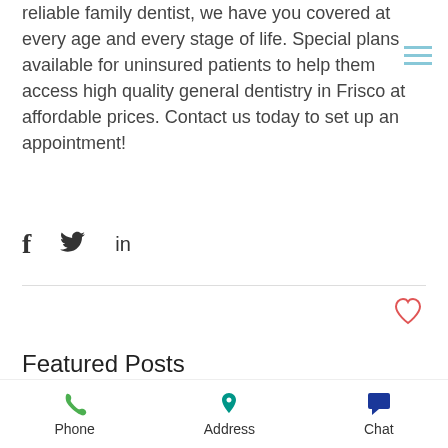reliable family dentist, we have you covered at every age and every stage of life. Special plans available for uninsured patients to help them access high quality general dentistry in Frisco at affordable prices. Contact us today to set up an appointment!
[Figure (infographic): Social share icons: Facebook (f), Twitter (bird), LinkedIn (in)]
[Figure (infographic): Heart/like icon (outline heart in red/pink)]
Featured Posts
[Figure (photo): Photo strip showing a woman and a man looking down, appears to be a dental office setting]
[Figure (infographic): Scroll-to-top button: grey square with upward chevron]
Phone | Address | Chat